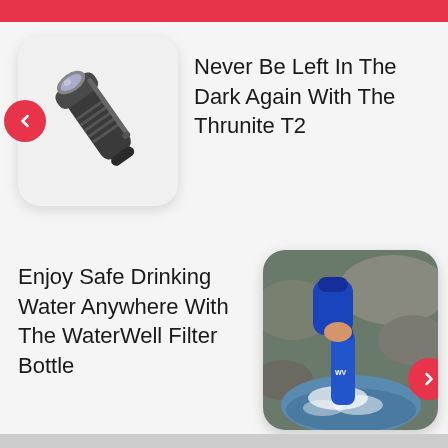[Figure (other): Red top navigation bar strip]
[Figure (photo): Thrunite T2 flashlight on a light grey rounded square background with a red back-arrow button]
Never Be Left In The Dark Again With The Thrunite T2
Enjoy Safe Drinking Water Anywhere With The WaterWell Filter Bottle
[Figure (photo): Person filling a blue water bottle from a rocky mountain stream, with a red forward-arrow button overlay]